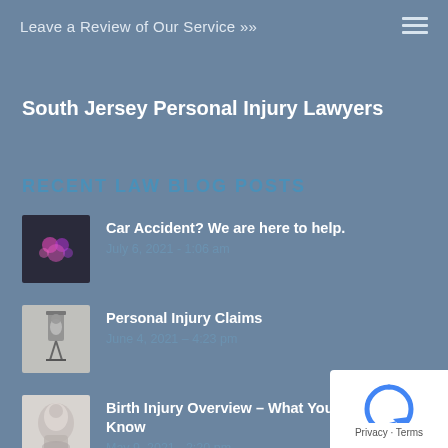Leave a Review of Our Service »»
South Jersey Personal Injury Lawyers
RECENT LAW BLOG POSTS
Car Accident? We are here to help.
July 6, 2021 - 1:06 am
Personal Injury Claims
June 4, 2021 – 4:23 pm
Birth Injury Overview – What You Need to Know
May 9, 2021 - 2:20 pm
[Figure (logo): reCAPTCHA badge with Privacy and Terms links]